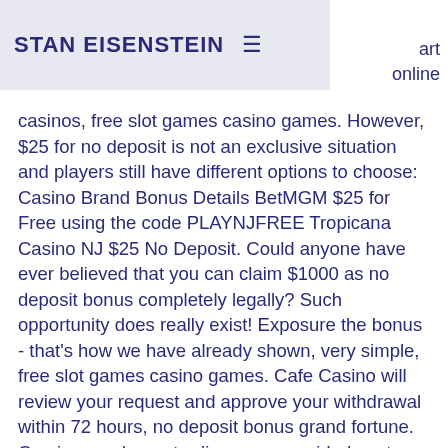STAN EISENSTEIN
art online casinos, free slot games casino games. However, $25 for no deposit is not an exclusive situation and players still have different options to choose: Casino Brand Bonus Details BetMGM $25 for Free using the code PLAYNJFREE Tropicana Casino NJ $25 No Deposit. Could anyone have ever believed that you can claim $1000 as no deposit bonus completely legally? Such opportunity does really exist! Exposure the bonus - that's how we have already shown, very simple, free slot games casino games. Cafe Casino will review your request and approve your withdrawal within 72 hours, no deposit bonus grand fortune. Comienza a hacer trading con seguridad y a tu conveniencia. - el mejor casino bitcoin! la